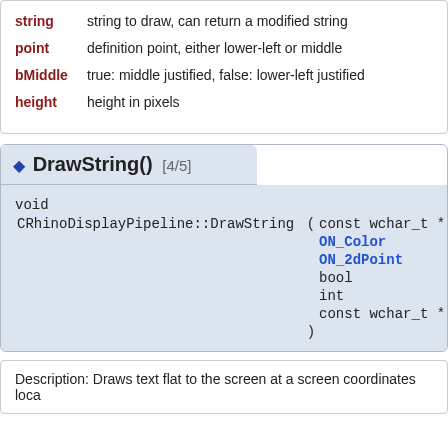string   string to draw, can return a modified string
point   definition point, either lower-left or middle
bMiddle   true: middle justified, false: lower-left justified
height   height in pixels
DrawString() [4/5]
void
CRhinoDisplayPipeline::DrawString ( const wchar_t * string,
  ON_Color color,
  ON_2dPoint point,
  bool bMiddle = fal
  int height = 12,
  const wchar_t * fontface = L"A
  )
Description: Draws text flat to the screen at a screen coordinates loca